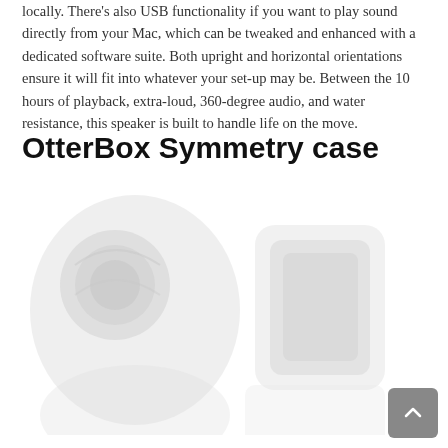locally. There's also USB functionality if you want to play sound directly from your Mac, which can be tweaked and enhanced with a dedicated software suite. Both upright and horizontal orientations ensure it will fit into whatever your set-up may be. Between the 10 hours of playback, extra-loud, 360-degree audio, and water resistance, this speaker is built to handle life on the move.
OtterBox Symmetry case
[Figure (photo): Faded/watermark-style photo of OtterBox Symmetry cases, shown in light gray tones against white background]